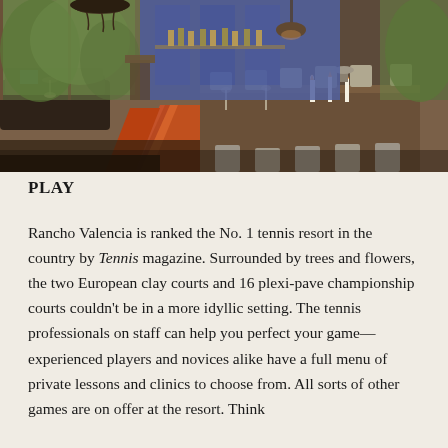[Figure (photo): Interior of an upscale restaurant dining room with long wooden tables set with glassware and candles, modern chairs, decorative rugs in orange and red tones, large windows showing greenery outside, warm ambient lighting with hanging chandeliers.]
PLAY
Rancho Valencia is ranked the No. 1 tennis resort in the country by Tennis magazine. Surrounded by trees and flowers, the two European clay courts and 16 plexi-pave championship courts couldn't be in a more idyllic setting. The tennis professionals on staff can help you perfect your game—experienced players and novices alike have a full menu of private lessons and clinics to choose from. All sorts of other games are on offer at the resort. Think